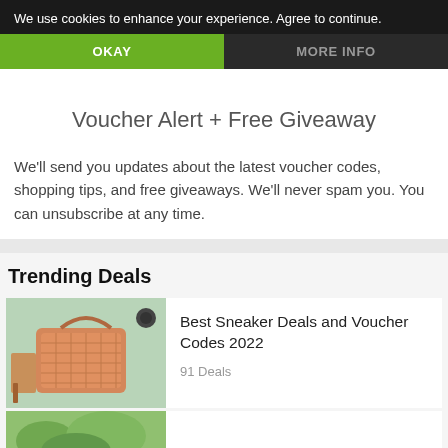We use cookies to enhance your experience. Agree to continue.
OKAY
MORE INFO
Voucher Alert + Free Giveaway
We'll send you updates about the latest voucher codes, shopping tips, and free giveaways. We'll never spam you. You can unsubscribe at any time.
Trending Deals
[Figure (photo): Photo of an orange woven handbag with heeled shoes and accessories on a wooden surface with green background]
Best Sneaker Deals and Voucher Codes 2022
91 Deals
[Figure (photo): Partial photo showing green plants or foliage, bottom of page]